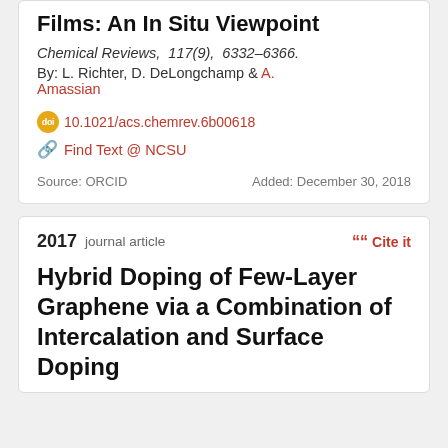Films: An In Situ Viewpoint
Chemical Reviews, 117(9), 6332–6366.
By: L. Richter, D. DeLongchamp & A. Amassian
doi 10.1021/acs.chemrev.6b00618
Find Text @ NCSU
Source: ORCID    Added: December 30, 2018
2017 journal article
Hybrid Doping of Few-Layer Graphene via a Combination of Intercalation and Surface Doping